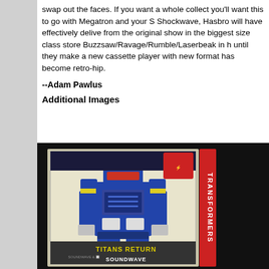swap out the faces. If you want a whole collect you'll want this to go with Megatron and your S Shockwave, Hasbro will have effectively delive from the original show in the biggest size class store Buzzsaw/Ravage/Rumble/Laserbeak in h until they make a new cassette player with new format has become retro-hip.
--Adam Pawlus
Additional Images
[Figure (photo): Transformers Titans Return Soundwave toy in packaging, showing a blue robot figure. The box reads 'TITANS RETURN' and 'SOUNDWAVE' at the bottom, with the Transformers logo on the right side.]